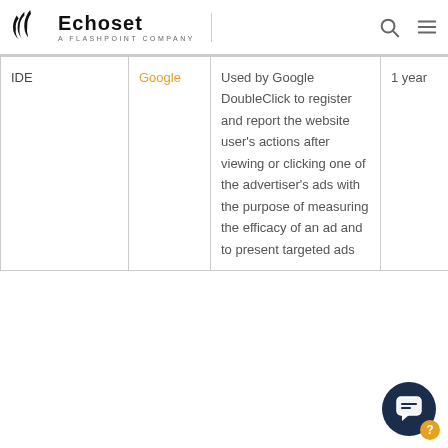Echoset — A Flashpoint Company
|  |  |  |  |
| --- | --- | --- | --- |
| IDE | Google | Used by Google DoubleClick to register and report the website user's actions after viewing or clicking one of the advertiser's ads with the purpose of measuring the efficacy of an ad and to present targeted ads | 1 year |